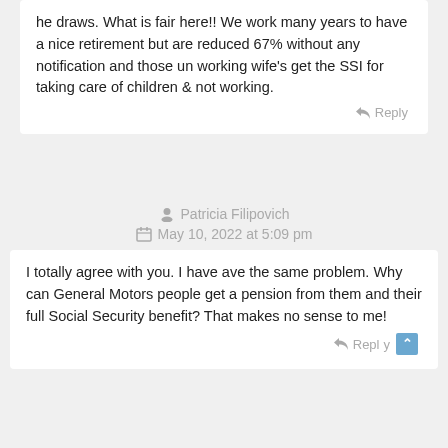he draws. What is fair here!! We work many years to have a nice retirement but are reduced 67% without any notification and those un working wife's get the SSI for taking care of children & not working.
Reply
Patricia Filipovich
May 10, 2022 at 5:09 pm
I totally agree with you. I have ave the same problem. Why can General Motors people get a pension from them and their full Social Security benefit? That makes no sense to me!
Reply